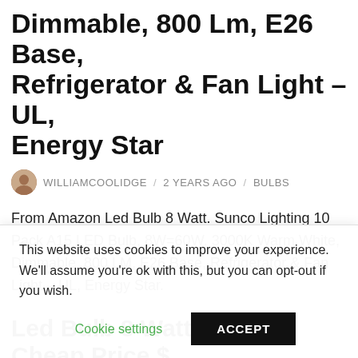Dimmable, 800 Lm, E26 Base, Refrigerator & Fan Light – UL, Energy Star
WILLIAMCOOLIDGE / 2 YEARS AGO / BULBS
From Amazon Led Bulb 8 Watt. Sunco Lighting 10 Pack A15 LED Bulb, 8W=60W, 3000K Warm White, Dimmable, 800 LM, E26 Base, Refrigerator & Fan Light – UL, Energy Star.
Led Bulb 8 Watt – Now Cheap Price $
Fresh Stocks Led Bulb 8 Watt, Sunco Lighting 10 Pack A15 LED Bulb, 8W=60W, 3000K Warm White, Dimmable, 800 LM
This website uses cookies to improve your experience. We'll assume you're ok with this, but you can opt-out if you wish.